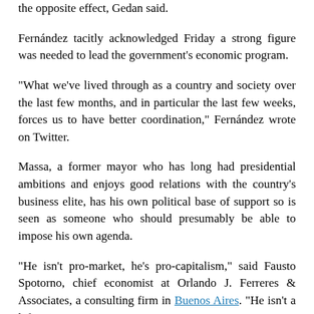the opposite effect, Gedan said.
Fernández tacitly acknowledged Friday a strong figure was needed to lead the government's economic program.
“What we’ve lived through as a country and society over the last few months, and in particular the last few weeks, forces us to have better coordination,” Fernández wrote on Twitter.
Massa, a former mayor who has long had presidential ambitions and enjoys good relations with the country’s business elite, has his own political base of support so is seen as someone who should presumably be able to impose his own agenda.
“He isn’t pro-market, he’s pro-capitalism,” said Fausto Spotorno, chief economist at Orlando J. Ferreres & Associates, a consulting firm in Buenos Aires. “He isn’t a leftist.”